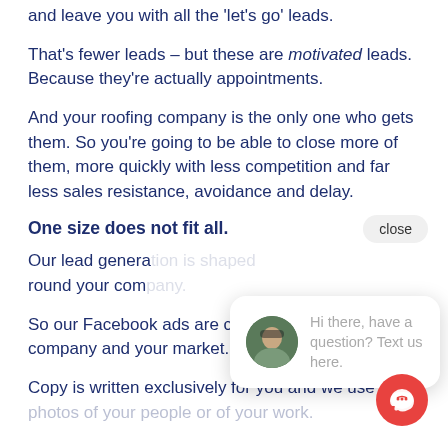and leave you with all the 'let's go' leads.
That's fewer leads – but these are motivated leads. Because they're actually appointments.
And your roofing company is the only one who gets them. So you're going to be able to close more of them, more quickly with less competition and far less sales resistance, avoidance and delay.
One size does not fit all.
Our lead genera... round your com...
[Figure (other): Chat widget overlay showing avatar photo and text 'Hi there, have a question? Text us here.' with a close button]
So our Facebook ads are custom designed for your company and your market.
Copy is written exclusively for you and we use real photos of your people or of your work.